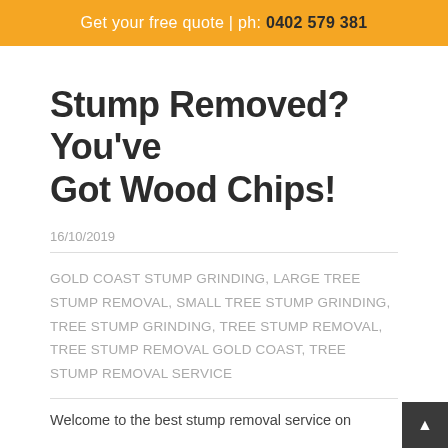Get your free quote | ph: 0402 579 381
Stump Removed? You've Got Wood Chips!
16/10/2019
GOLD COAST STUMP GRINDING, LARGE TREE STUMP REMOVAL, SMALL TREE STUMP GRINDING, TREE STUMP GRINDING, TREE STUMP REMOVAL, TREE STUMP REMOVAL GOLD COAST, TREE STUMP REMOVAL SERVICE
Welcome to the best stump removal service on